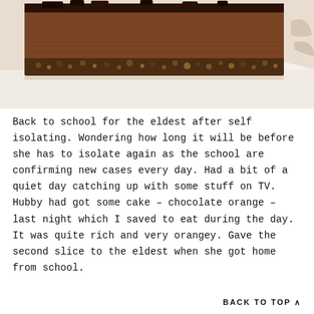[Figure (photo): Close-up photograph of a slice of chocolate orange cake on a white plate. The cake has a dense chocolate mousse layer on top and a nutty/biscuit base crust at the bottom.]
Back to school for the eldest after self isolating. Wondering how long it will be before she has to isolate again as the school are confirming new cases every day. Had a bit of a quiet day catching up with some stuff on TV. Hubby had got some cake – chocolate orange – last night which I saved to eat during the day. It was quite rich and very orangey. Gave the second slice to the eldest when she got home from school.
BACK TO TOP ∧